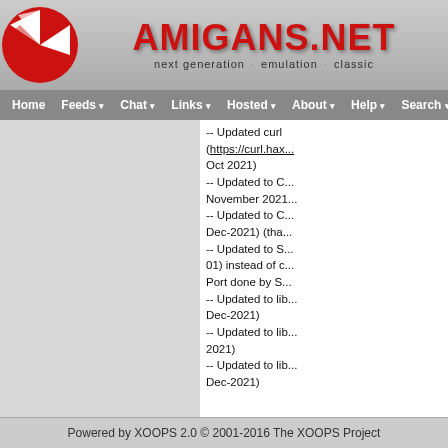AMIGANS.NET — next generation · emulation · classic
Home | Feeds | Chat | Links | Hosted | About | Help | Search
-- Updated curl (https://curl.hax... Oct 2021)
-- Updated to C... November 2021...
-- Updated to C... Dec-2021) (tha...
-- Updated to S... 01) instead of c... Port done by S...
-- Updated to lib... Dec-2021)
-- Updated to lib... 2021)
-- Updated to lib... Dec-2021)

That version wi... _new_ major p... by updating 3d...

Plz, check this...
Powered by XOOPS 2.0 © 2001-2016 The XOOPS Project